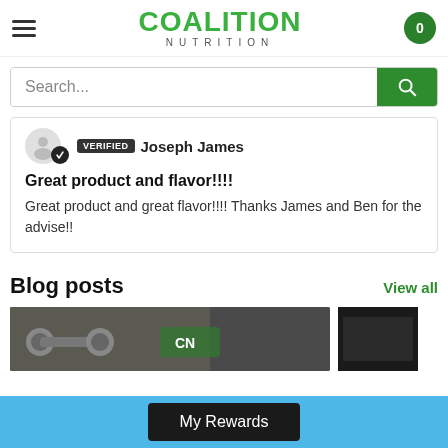Coalition Nutrition — hamburger menu, logo, cart (0)
Search...
Verified Joseph James
Great product and flavor!!!!
Great product and great flavor!!!! Thanks James and Ben for the advise!!
Blog posts
View all
[Figure (photo): Blog post thumbnail showing weights/dumbbells with green nutrition branding]
[Figure (photo): Partial dark blog post thumbnail]
My Rewards